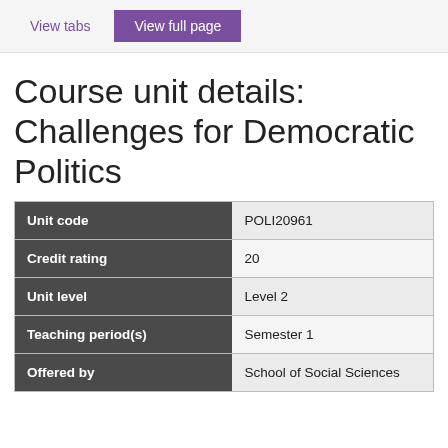View tabs  View full page
Course unit details: Challenges for Democratic Politics
|  |  |
| --- | --- |
| Unit code | POLI20961 |
| Credit rating | 20 |
| Unit level | Level 2 |
| Teaching period(s) | Semester 1 |
| Offered by | School of Social Sciences |